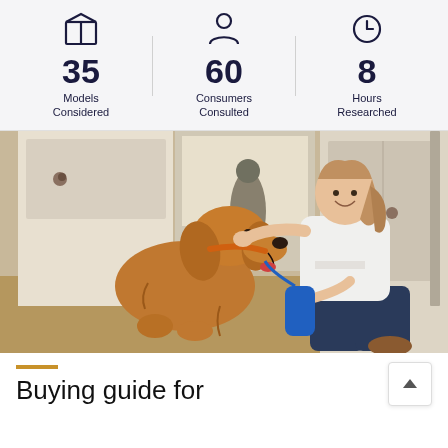[Figure (infographic): Three statistics displayed in a row: 35 Models Considered, 60 Consumers Consulted, 8 Hours Researched, each with an icon above]
[Figure (photo): A woman kneeling on the floor smiling, petting a golden retriever dog while holding a blue retractable leash, inside a home near white cabinet doors]
Buying guide for